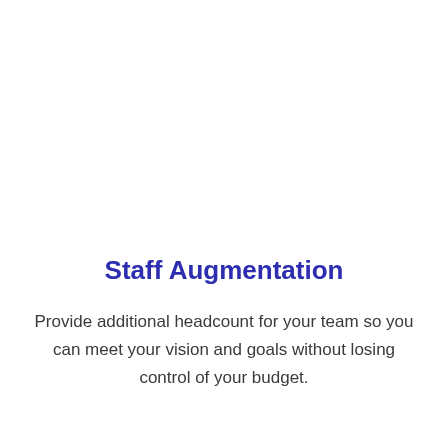Staff Augmentation
Provide additional headcount for your team so you can meet your vision and goals without losing control of your budget.